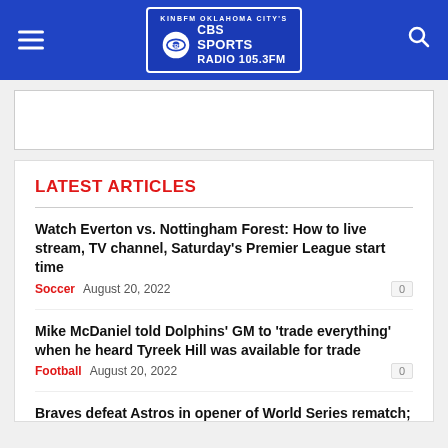KINBFM OKLAHOMA CITY'S CBS SPORTS RADIO 105.3FM
LATEST ARTICLES
Watch Everton vs. Nottingham Forest: How to live stream, TV channel, Saturday's Premier League start time
Soccer  August 20, 2022  0
Mike McDaniel told Dolphins' GM to 'trade everything' when he heard Tyreek Hill was available for trade
Football  August 20, 2022  0
Braves defeat Astros in opener of World Series rematch; Yordan Alvarez leaves with shortness of